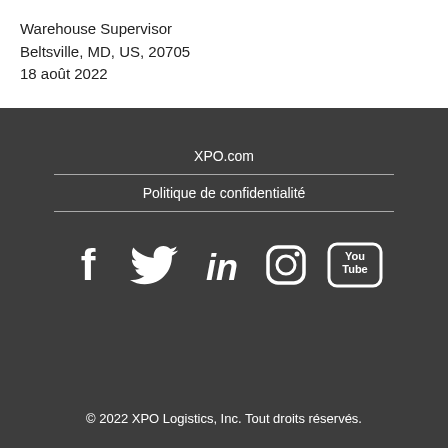Warehouse Supervisor
Beltsville, MD, US, 20705
18 août 2022
XPO.com
Politique de confidentialité
[Figure (illustration): Social media icons: Facebook, Twitter, LinkedIn, Instagram, YouTube]
© 2022 XPO Logistics, Inc. Tout droits réservés.